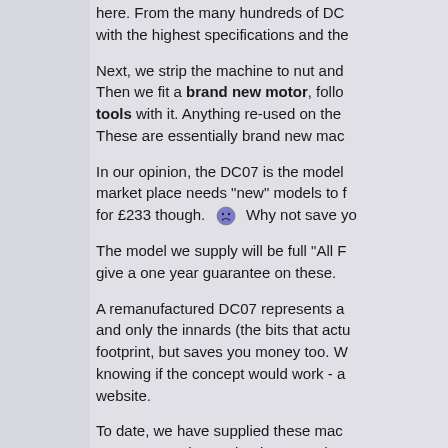here. From the many hundreds of DC[...] with the highest specifications and the[...]
Next, we strip the machine to nut and [...] Then we fit a brand new motor, follo[...] tools with it. Anything re-used on the[...] These are essentially brand new mach[...]
In our opinion, the DC07 is the model [...] market place needs "new" models to f[...] for £233 though. 😕 Why not save yo[...]
The model we supply will be full "All F[...] give a one year guarantee on these.
A remanufactured DC07 represents a [...] and only the innards (the bits that actu[...] footprint, but saves you money too. W[...] knowing if the concept would work - a[...] website.
To date, we have supplied these mach[...] Norway, Sweden, Poland, Portugal, S[...] pin plug and are suitable for only 220-[...] former Soviet Union), you will need a[...]